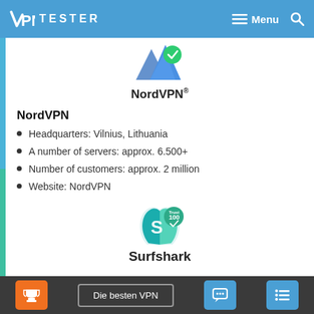VPN TESTER — Menu
[Figure (logo): NordVPN logo: blue mountain peaks with green checkmark badge]
NordVPN®
NordVPN
Headquarters: Vilnius, Lithuania
A number of servers: approx. 6.500+
Number of customers: approx. 2 million
Website: NordVPN
[Figure (logo): Surfshark logo: teal shark fin with Trust 100 badge]
Surfshark
Die besten VPN